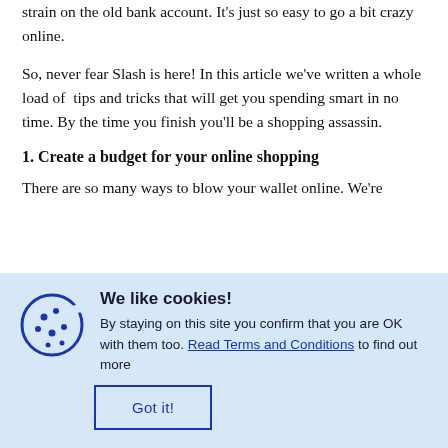strain on the old bank account. It's just so easy to go a bit crazy online.
So, never fear Slash is here! In this article we've written a whole load of  tips and tricks that will get you spending smart in no time. By the time you finish you'll be a shopping assassin.
1. Create a budget for your online shopping
There are so many ways to blow your wallet online. We're
[Figure (illustration): Cookie consent banner with blue background. Left side shows a cookie icon (circle with dots). Right side has bold title 'We like cookies!' followed by body text 'By staying on this site you confirm that you are OK with them too. Read Terms and Conditions to find out more'. Below is a 'Got it!' button with blue border.]